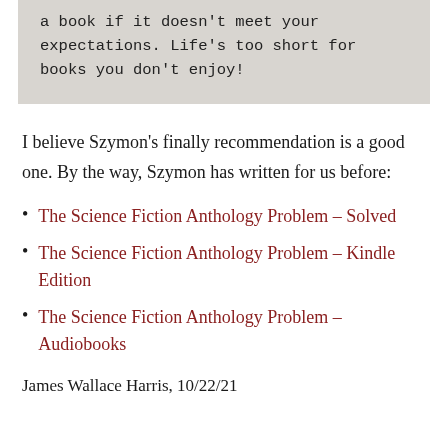a book if it doesn't meet your expectations. Life's too short for books you don't enjoy!
I believe Szymon's finally recommendation is a good one. By the way, Szymon has written for us before:
The Science Fiction Anthology Problem – Solved
The Science Fiction Anthology Problem – Kindle Edition
The Science Fiction Anthology Problem – Audiobooks
James Wallace Harris, 10/22/21